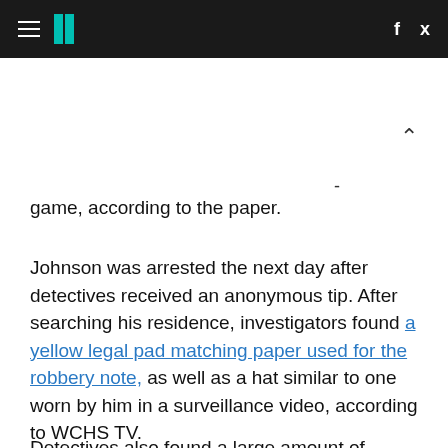HuffPost navigation header with hamburger menu, logo, Facebook and Twitter icons
game, according to the paper.
Johnson was arrested the next day after detectives received an anonymous tip. After searching his residence, investigators found a yellow legal pad matching paper used for the robbery note, as well as a hat similar to one worn by him in a surveillance video, according to WCHS TV.
Detectives also found a large amount of money stuffed into Johnson's couch. They also